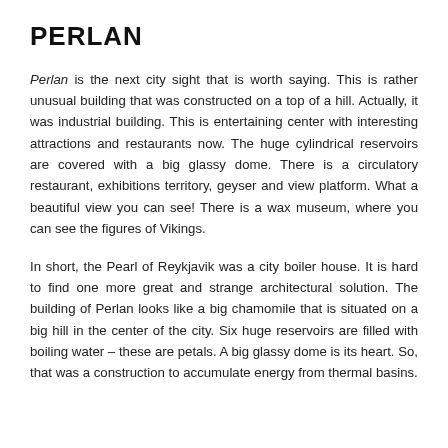PERLAN
Perlan is the next city sight that is worth saying. This is rather unusual building that was constructed on a top of a hill. Actually, it was industrial building. This is entertaining center with interesting attractions and restaurants now. The huge cylindrical reservoirs are covered with a big glassy dome. There is a circulatory restaurant, exhibitions territory, geyser and view platform. What a beautiful view you can see! There is a wax museum, where you can see the figures of Vikings.
In short, the Pearl of Reykjavik was a city boiler house. It is hard to find one more great and strange architectural solution. The building of Perlan looks like a big chamomile that is situated on a big hill in the center of the city. Six huge reservoirs are filled with boiling water – these are petals. A big glassy dome is its heart. So, that was a construction to accumulate energy from thermal basins.